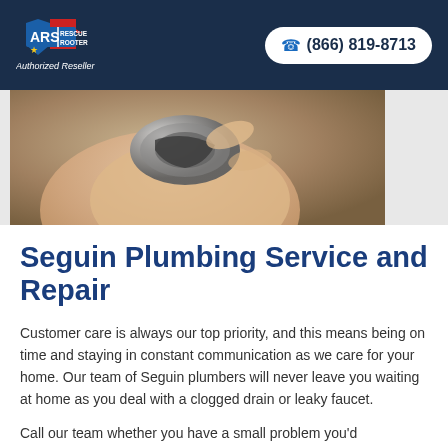ARS Rescue Rooter — Authorized Reseller | ☎ (866) 819-8713
[Figure (photo): Close-up photo of a hand holding a metal pipe fitting or plumbing connector]
Seguin Plumbing Service and Repair
Customer care is always our top priority, and this means being on time and staying in constant communication as we care for your home. Our team of Seguin plumbers will never leave you waiting at home as you deal with a clogged drain or leaky faucet.
Call our team whether you have a small problem you'd